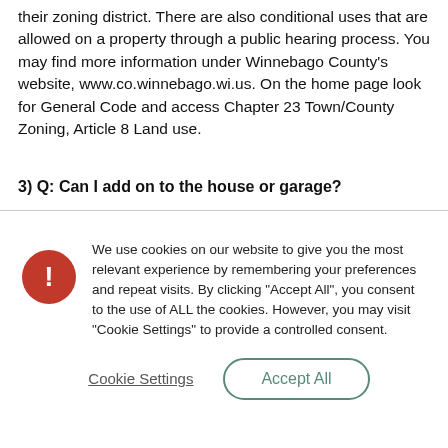their zoning district. There are also conditional uses that are allowed on a property through a public hearing process. You may find more information under Winnebago County's website, www.co.winnebago.wi.us. On the home page look for General Code and access Chapter 23 Town/County Zoning, Article 8 Land use.
3) Q: Can I add on to the house or garage?
We use cookies on our website to give you the most relevant experience by remembering your preferences and repeat visits. By clicking "Accept All", you consent to the use of ALL the cookies. However, you may visit "Cookie Settings" to provide a controlled consent.